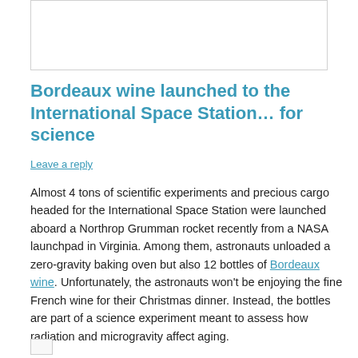[Figure (other): White rectangular image placeholder box at top of page]
Bordeaux wine launched to the International Space Station… for science
Leave a reply
Almost 4 tons of scientific experiments and precious cargo headed for the International Space Station were launched aboard a Northrop Grumman rocket recently from a NASA launchpad in Virginia. Among them, astronauts unloaded a zero-gravity baking oven but also 12 bottles of Bordeaux wine. Unfortunately, the astronauts won't be enjoying the fine French wine for their Christmas dinner. Instead, the bottles are part of a science experiment meant to assess how radiation and microgravity affect aging.